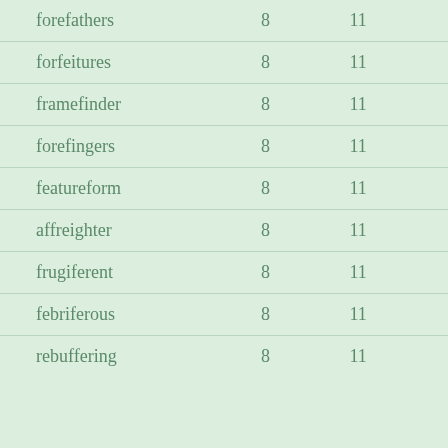| forefathers | 8 | 11 |
| forfeitures | 8 | 11 |
| framefinder | 8 | 11 |
| forefingers | 8 | 11 |
| featureform | 8 | 11 |
| affreighter | 8 | 11 |
| frugiferent | 8 | 11 |
| febriferous | 8 | 11 |
| rebuffering | 8 | 11 |